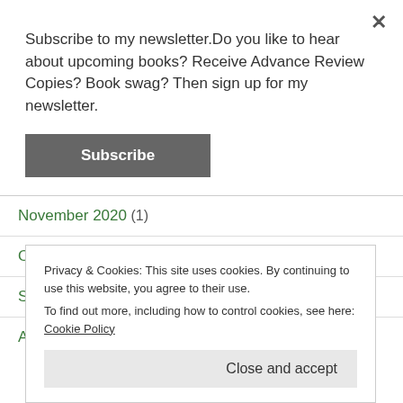Subscribe to my newsletter.Do you like to hear about upcoming books? Receive Advance Review Copies? Book swag? Then sign up for my newsletter.
Subscribe
November 2020 (1)
October 2020 (3)
September 2020 (2)
August 2020 (4)
Privacy & Cookies: This site uses cookies. By continuing to use this website, you agree to their use. To find out more, including how to control cookies, see here: Cookie Policy
Close and accept